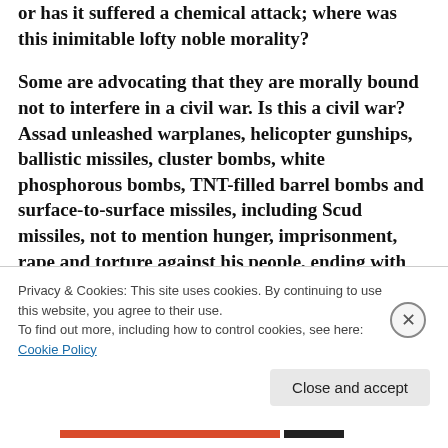or has it suffered a chemical attack; where was this inimitable lofty noble morality?
Some are advocating that they are morally bound not to interfere in a civil war. Is this a civil war? Assad unleashed warplanes, helicopter gunships, ballistic missiles, cluster bombs, white phosphorous bombs, TNT-filled barrel bombs and surface-to-surface missiles, including Scud missiles, not to mention hunger, imprisonment, rape and torture against his people, ending with chemical warfare, yet the world
Privacy & Cookies: This site uses cookies. By continuing to use this website, you agree to their use.
To find out more, including how to control cookies, see here: Cookie Policy